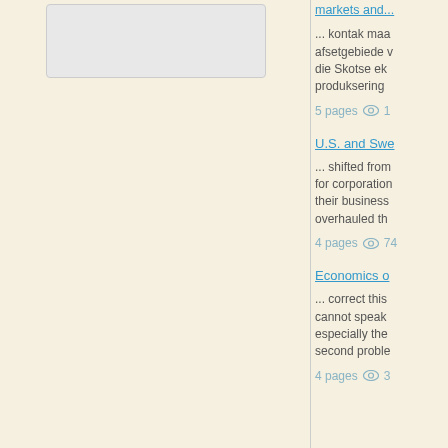[Figure (screenshot): Thumbnail/preview box with light gray background and border, positioned in the left panel area]
... kontak maa afsetgebiede v die Skotse ek produksering
5 pages  👁 1
U.S. and Swe
... shifted from for corporation their business overhauled th
4 pages  👁 74
Economics o
... correct this cannot speak especially the second proble
4 pages  👁 3